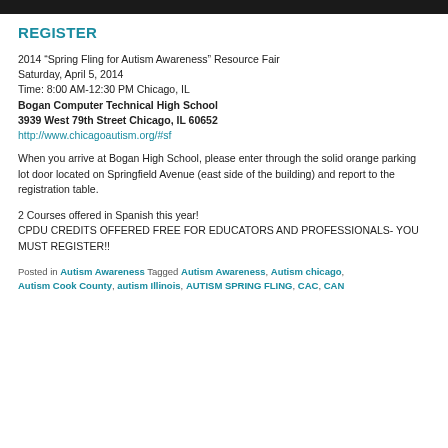REGISTER
2014 “Spring Fling for Autism Awareness” Resource Fair
Saturday, April 5, 2014
Time: 8:00 AM-12:30 PM Chicago, IL
Bogan Computer Technical High School
3939 West 79th Street Chicago, IL 60652
http://www.chicagoautism.org/#sf
When you arrive at Bogan High School, please enter through the solid orange parking lot door located on Springfield Avenue (east side of the building) and report to the registration table.
2 Courses offered in Spanish this year!
CPDU CREDITS OFFERED FREE FOR EDUCATORS AND PROFESSIONALS- YOU MUST REGISTER!!
Posted in Autism Awareness Tagged Autism Awareness, Autism chicago, Autism Cook County, autism Illinois, AUTISM SPRING FLING, CAC, CAN